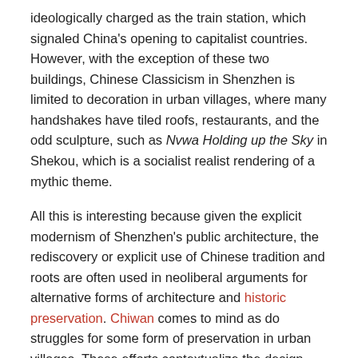ideologically charged as the train station, which signaled China's opening to capitalist countries. However, with the exception of these two buildings, Chinese Classicism in Shenzhen is limited to decoration in urban villages, where many handshakes have tiled roofs, restaurants, and the odd sculpture, such as Nvwa Holding up the Sky in Shekou, which is a socialist realist rendering of a mythic theme.
All this is interesting because given the explicit modernism of Shenzhen's public architecture, the rediscovery or explicit use of Chinese tradition and roots are often used in neoliberal arguments for alternative forms of architecture and historic preservation. Chiwan comes to mind as do struggles for some form of preservation in urban villages. These efforts contextualize the design and construction of key civic architecture, including the Civic Center and central axis, which has the ideological expression of Reform and Opening (here, here, and here). Importantly, both the relentless modernization of Reform era public buildings and the alternative movement to construct a classical past for Shenzhen ignore Maoism, which nevertheless continues to inform the built environment.